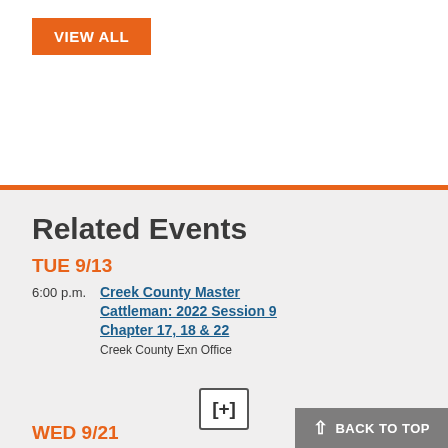VIEW ALL
Related Events
TUE 9/13
6:00 p.m. Creek County Master Cattleman: 2022 Session 9 Chapter 17, 18 & 22
Creek County Extension Office
WED 9/21